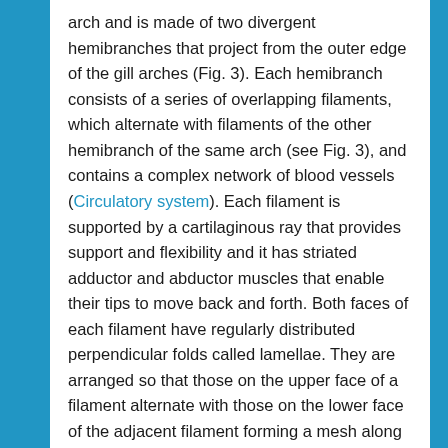arch and is made of two divergent hemibranches that project from the outer edge of the gill arches (Fig. 3). Each hemibranch consists of a series of overlapping filaments, which alternate with filaments of the other hemibranch of the same arch (see Fig. 3), and contains a complex network of blood vessels (Circulatory system). Each filament is supported by a cartilaginous ray that provides support and flexibility and it has striated adductor and abductor muscles that enable their tips to move back and forth. Both faces of each filament have regularly distributed perpendicular folds called lamellae. They are arranged so that those on the upper face of a filament alternate with those on the lower face of the adjacent filament forming a mesh along the entire hemibranch. The lamella is the functional unit of the respiratory system, as it is the site at which gases dissolved in water and gases carried by red blood cells are exchanged. The number and size of these lamellae define the respiratory surface, which